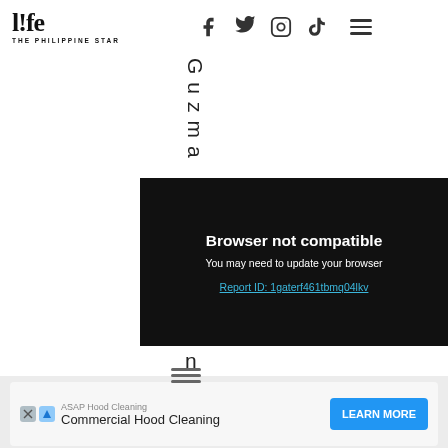[Figure (logo): life! THE PHILIPPINE STAR logo with social media icons (Facebook, Twitter, Instagram, TikTok) and hamburger menu]
Guzma
[Figure (screenshot): Black browser error box: 'Browser not compatible. You may need to update your browser. Report ID: 1gaterf461tbmq04lkv']
n
[Figure (other): Hamburger/menu icon (three horizontal lines)]
[Figure (other): Advertisement bar: ASAP Hood Cleaning - Commercial Hood Cleaning - LEARN MORE button]